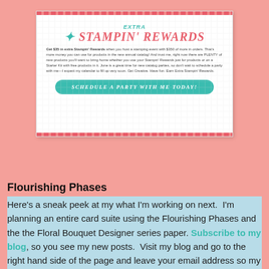[Figure (infographic): A promotional card with pink decorative strips on top and bottom, grid paper background texture. Text reads 'Extra ✦ Stampin' Rewards' in coral/teal heading. Body text describes getting $35 in extra Stampin' Rewards when hosting a stamping event with $350 or more in orders. Has a teal oval button saying 'Schedule a party with me today!']
Flourishing Phases
Here's a sneak peek at my what I'm working on next.  I'm planning an entire card suite using the Flourishing Phases and the the Floral Bouquet Designer series paper. Subscribe to my blog, so you see my new posts.  Visit my blog and go to the right hand side of the page and leave your email address so my posts arrive in your mail box as soon as I post.